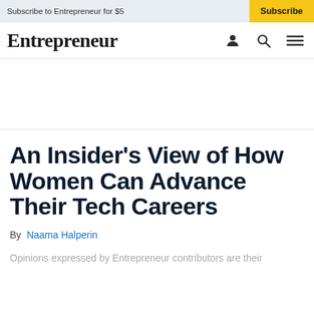Subscribe to Entrepreneur for $5  |  Subscribe
Entrepreneur
An Insider's View of How Women Can Advance Their Tech Careers
By  Naama Halperin
Opinions expressed by Entrepreneur contributors are their